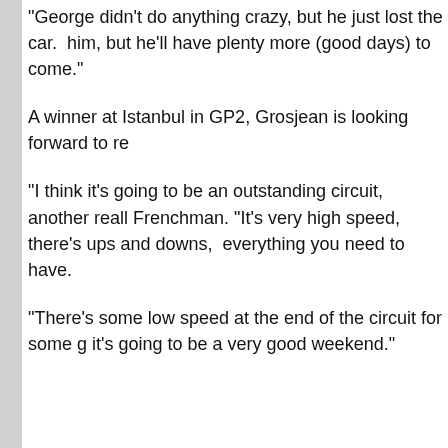"George didn't do anything crazy, but he just lost the car. him, but he'll have plenty more (good days) to come."
A winner at Istanbul in GP2, Grosjean is looking forward to re
"I think it's going to be an outstanding circuit, another reall Frenchman. "It's very high speed, there's ups and downs, everything you need to have.
"There's some low speed at the end of the circuit for some g it's going to be a very good weekend."